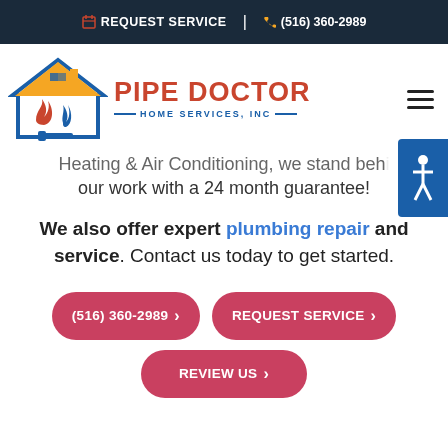REQUEST SERVICE | (516) 360-2989
[Figure (logo): Pipe Doctor Home Services, Inc logo with house icon]
Heating & Air Conditioning, we stand behind our work with a 24 month guarantee!
We also offer expert plumbing repair and service. Contact us today to get started.
(516) 360-2989 > | REQUEST SERVICE > | REVIEW US >